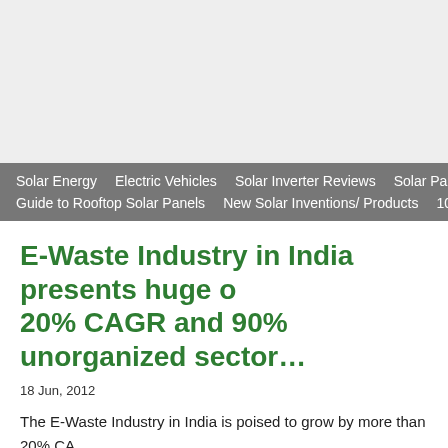Solar Energy   Electric Vehicles   Solar Inverter Reviews   Solar Panels Review   Guide to Rooftop Solar Panels   New Solar Inventions/ Products   10 Best & Tr…
E-Waste Industry in India presents huge opportunity — 20% CAGR and 90% unorganized sector…
18 Jun, 2012
The E-Waste Industry in India is poised to grow by more than 20% CAGR… increasing amounts of e-waste as income levels grow leading to increas… computers. Note a number of e-waste companies in India are already pr… serve only 10% of the existing […]